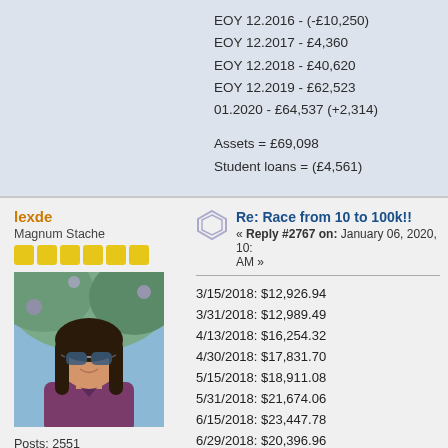EOY 12.2016 - (-£10,250)
EOY 12.2017 - £4,360
EOY 12.2018 - £40,620
EOY 12.2019 - £62,523
01.2020 - £64,537 (+2,314)
Assets = £69,098
Student loans = (£4,561)
lexde
Magnum Stache
[Figure (photo): Profile photo of a young woman with dark hair and sunglasses, outdoors]
Posts: 2551
Age: 32
Re: Race from 10 to 100k!!
« Reply #2767 on: January 06, 2020, 10: AM »
3/15/2018: $12,926.94
3/31/2018: $12,989.49
4/13/2018: $16,254.32
4/30/2018: $17,831.70
5/15/2018: $18,911.08
5/31/2018: $21,674.06
6/15/2018: $23,447.78
6/29/2018: $20,396.96
7/21/2018: $22,666.63
7/31/2018: $24,667.50
8/23/2018: $25,400.62
8/31/2018: $27,000.00